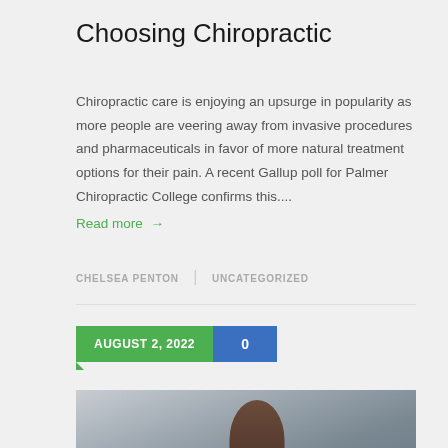Choosing Chiropractic
Chiropractic care is enjoying an upsurge in popularity as more people are veering away from invasive procedures and pharmaceuticals in favor of more natural treatment options for their pain. A recent Gallup poll for Palmer Chiropractic College confirms this.... Read more →
CHELSEA PENTON | UNCATEGORIZED
AUGUST 2, 2022  0
[Figure (photo): Photo of a person (woman with curly hair) in a clinical or office setting, with another person visible in background]